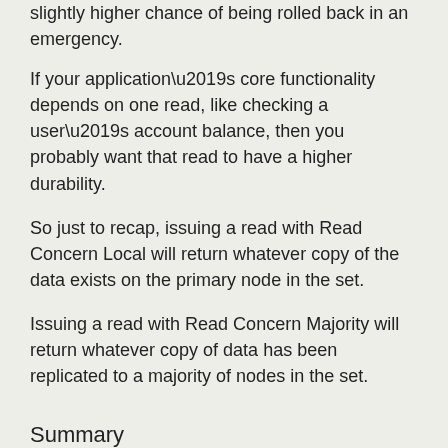slightly higher chance of being rolled back in an emergency.
If your application’s core functionality depends on one read, like checking a user’s account balance, then you probably want that read to have a higher durability.
So just to recap, issuing a read with Read Concern Local will return whatever copy of the data exists on the primary node in the set.
Issuing a read with Read Concern Majority will return whatever copy of data has been replicated to a majority of nodes in the set.
Summary
The default read concern in MongoDB is “local”